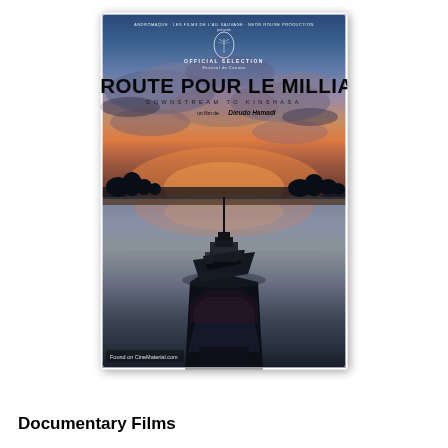[Figure (photo): Movie poster for 'En Route Pour Le Milliard' (Downstream to Kinshasa), a documentary film directed by Dieudo Hamadi. Official Selection at Cannes. The poster shows a dramatic sunset over a wide river, with a barge or boat silhouetted in the foreground, viewed from behind. The sky features orange and purple clouds reflected in the calm water. Silhouetted trees line the horizon. Text overlay includes the film title in large bold black letters, a Cannes Official Selection badge, and production credits. Bottom left watermark reads 'Found on CineMaterial.com'.]
Documentary Films